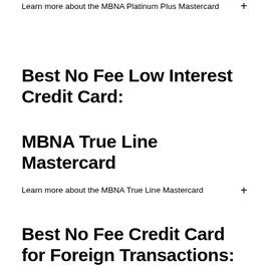Learn more about the MBNA Platinum Plus Mastercard +
Best No Fee Low Interest Credit Card:
MBNA True Line Mastercard
Learn more about the MBNA True Line Mastercard +
Best No Fee Credit Card for Foreign Transactions: